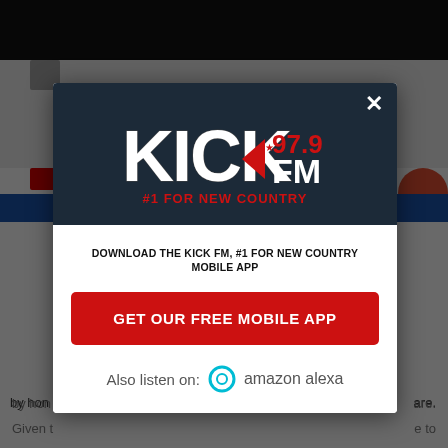[Figure (screenshot): Screenshot of a website with a modal popup overlay. The background shows a dark website with navigation elements. A modal dialog is centered on the page showing the KICK FM 97.9 radio station logo with '#1 FOR NEW COUNTRY' tagline, a download prompt for the mobile app, a red 'GET OUR FREE MOBILE APP' button, and an 'Also listen on: amazon alexa' section. Background shows partially visible article text.]
DOWNLOAD THE KICK FM, #1 FOR NEW COUNTRY MOBILE APP
GET OUR FREE MOBILE APP
Also listen on: amazon alexa
by hon care.
Given t e to